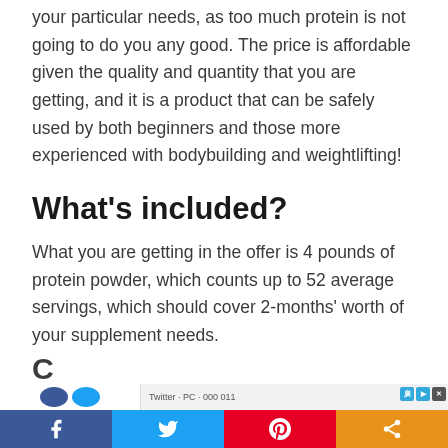your particular needs, as too much protein is not going to do you any good. The price is affordable given the quality and quantity that you are getting, and it is a product that can be safely used by both beginners and those more experienced with bodybuilding and weightlifting!
What's included?
What you are getting in the offer is 4 pounds of protein powder, which counts up to 52 average servings, which should cover 2-months' worth of your supplement needs.
[Figure (other): Social sharing bar at bottom with Facebook, Twitter, Pinterest, and share buttons. An advertisement banner partially visible above the social bar.]